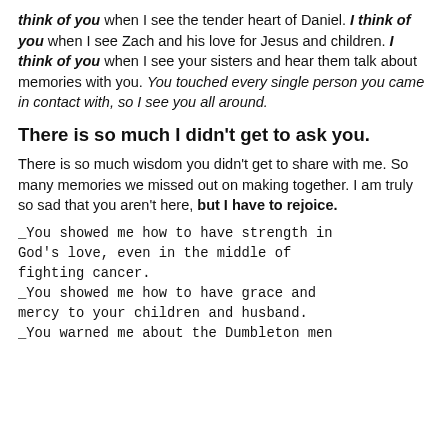_think of you_ when I see the tender heart of Daniel. _I think of you_ when I see Zach and his love for Jesus and children. _I think of you_ when I see your sisters and hear them talk about memories with you. You touched every single person you came in contact with, so I see you all around.
There is so much I didn't get to ask you.
There is so much wisdom you didn't get to share with me. So many memories we missed out on making together. I am truly so sad that you aren't here, but I have to rejoice.
_You showed me how to have strength in God's love, even in the middle of fighting cancer.
_You showed me how to have grace and mercy to your children and husband.
_You warned me about the Dumbleton men